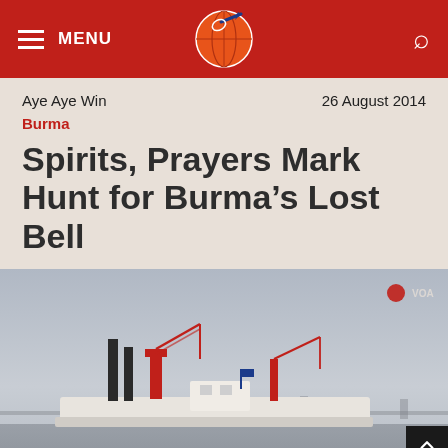MENU | [logo] | [search]
Aye Aye Win
26 August 2014
Burma
Spirits, Prayers Mark Hunt for Burma's Lost Bell
[Figure (photo): A dredging or salvage vessel on a river, with cranes and industrial equipment visible, under a hazy sky. A bridge is faintly visible in the background.]